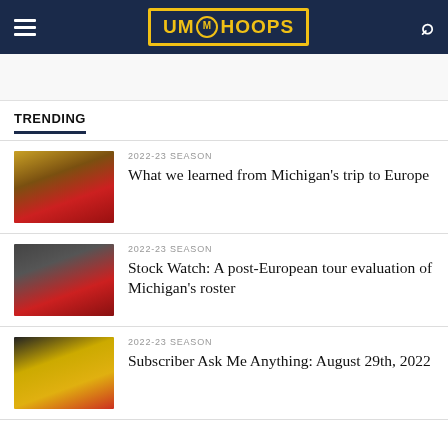UM Hoops
TRENDING
[Figure (photo): Basketball players on court during Michigan Europe trip]
2022-23 SEASON
What we learned from Michigan's trip to Europe
[Figure (photo): Basketball players during post-European tour game]
2022-23 SEASON
Stock Watch: A post-European tour evaluation of Michigan's roster
[Figure (photo): Basketball players during August 29th game]
2022-23 SEASON
Subscriber Ask Me Anything: August 29th, 2022